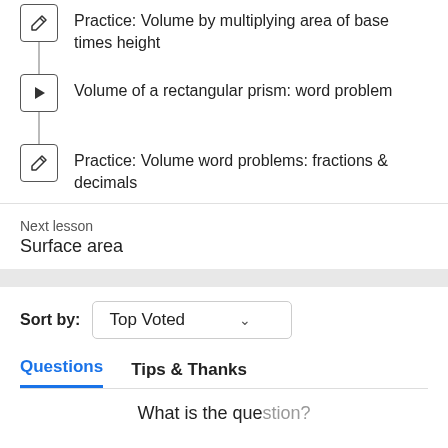Practice: Volume by multiplying area of base times height
Volume of a rectangular prism: word problem
Practice: Volume word problems: fractions & decimals
Next lesson
Surface area
Sort by: Top Voted
Questions	Tips & Thanks
What is the question?